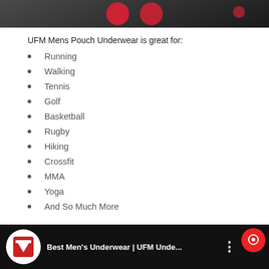[Figure (photo): Top portion of a product photo showing pink/red capsule-shaped objects on a light background]
UFM Mens Pouch Underwear is great for:
Running
Walking
Tennis
Golf
Basketball
Rugby
Hiking
Crossfit
MMA
Yoga
And So Much More
[Figure (screenshot): Video thumbnail showing Best Men's Underwear | UFM Unde... with UFM logo]